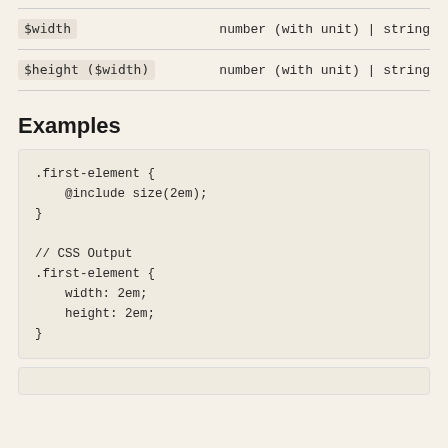| Parameter | Type |
| --- | --- |
| $width | number (with unit) | string |
| $height ($width) | number (with unit) | string |
Examples
.first-element {
    @include size(2em);
}

// CSS Output
.first-element {
    width: 2em;
    height: 2em;
}